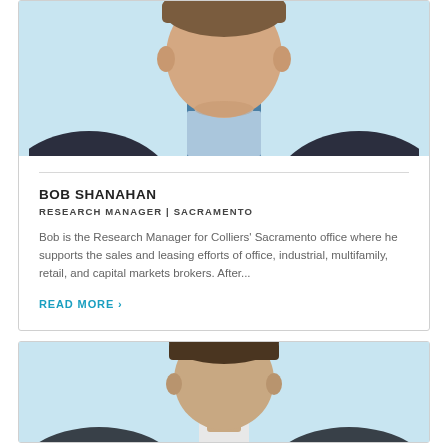[Figure (photo): Headshot photo of Bob Shanahan in a dark suit and blue checkered shirt, light blue background, cropped at the shoulders/neck area]
BOB SHANAHAN
RESEARCH MANAGER | SACRAMENTO
Bob is the Research Manager for Colliers' Sacramento office where he supports the sales and leasing efforts of office, industrial, multifamily, retail, and capital markets brokers. After...
READ MORE >
[Figure (photo): Headshot photo of a second person, cropped showing top of head and shoulders, light blue background]